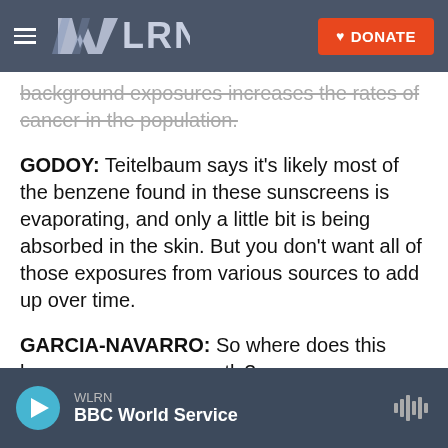[Figure (screenshot): WLRN navigation bar with hamburger menu, WLRN logo, and orange DONATE button]
background exposures increases the rates of cancer in the population.
GODOY: Teitelbaum says it's likely most of the benzene found in these sunscreens is evaporating, and only a little bit is being absorbed in the skin. But you don't want all of those exposures from various sources to add up over time.
GARCIA-NAVARRO: So where does this leave consumers, exactly?
GODOY: Well, stop using the sunscreens that have been recalled. But it's important to keep using
[Figure (screenshot): WLRN audio player bar at bottom showing play button, WLRN / BBC World Service, and waveform icon]